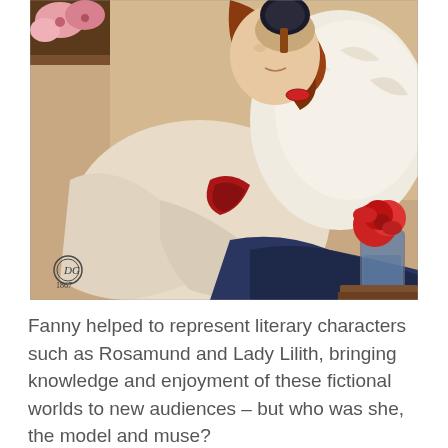[Figure (illustration): Pre-Raphaelite painting of a woman with long red hair seated, holding a dark hand mirror, wearing a white dress with a red bracelet and dark skirt. A glass vase with red flowers is visible on the right. The painting has a monogram and date (1867) in the lower left corner.]
Fanny helped to represent literary characters such as Rosamund and Lady Lilith, bringing knowledge and enjoyment of these fictional worlds to new audiences – but who was she, the model and muse?